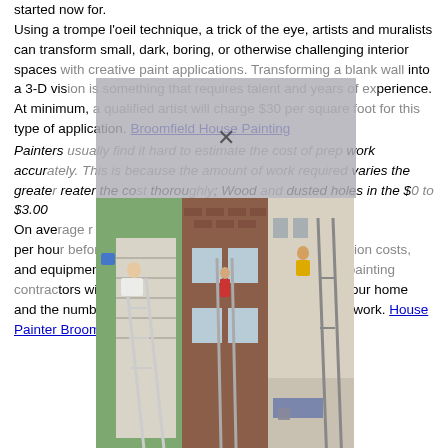started now for.
Using a trompe l'oeil technique, a trick of the eye, artists and muralists can transform small, dark, boring, or otherwise challenging interior spaces with creative paint applications. Transforming a blank wall into a 3-D vision is something that requires talent and years of experience. At minimum, a qualified artist will charge $30 per square foot for this type of application. Broomfield House Painting
Painters usually find it hard to estimate the cost of prep work accurately. This is because the amount of work required varies … the greater the cost … thoroughly … Wood … dusted … holes in the … $50 to $3.00 …
On average … painting … $40 per hour before you pay for paint, painting supplies, location costs, and equipment. To get a very general estimate, though, painting contractors will take into account the square footage of your home and the number of stories and also factor in normal prep work. House Painter Broomfield
[Figure (photo): Three photos showing exterior house painting scenes with ladders and painters]